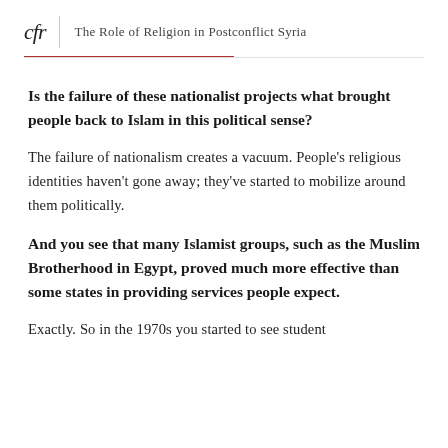cfr | The Role of Religion in Postconflict Syria
Is the failure of these nationalist projects what brought people back to Islam in this political sense?
The failure of nationalism creates a vacuum. People's religious identities haven't gone away; they've started to mobilize around them politically.
And you see that many Islamist groups, such as the Muslim Brotherhood in Egypt, proved much more effective than some states in providing services people expect.
Exactly. So in the 1970s you started to see student